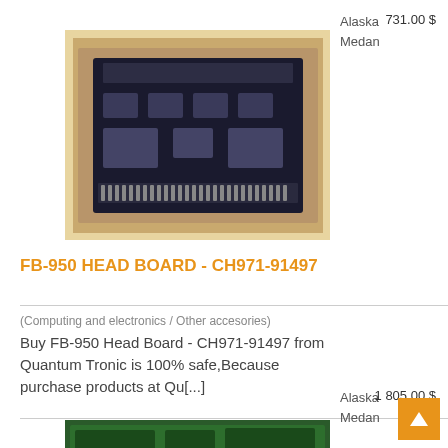Alaska
Medan
731.00 $
[Figure (photo): Circuit board / PCB product photo on a wooden surface background]
FB-950 HEAD BOARD - CH971-91497
(Computing and electronics / Other accesories)
Buy FB-950 Head Board - CH971-91497 from Quantum Tronic is 100% safe,Because purchase products at Qu[...]
Alaska
Medan
1 805.00 $
[Figure (photo): Green circuit board product photo]